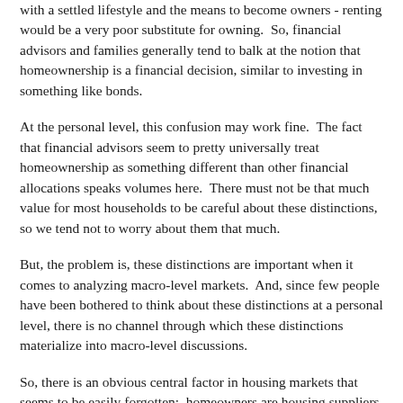with a settled lifestyle and the means to become owners - renting would be a very poor substitute for owning.  So, financial advisors and families generally tend to balk at the notion that homeownership is a financial decision, similar to investing in something like bonds.
At the personal level, this confusion may work fine.  The fact that financial advisors seem to pretty universally treat homeownership as something different than other financial allocations speaks volumes here.  There must not be that much value for most households to be careful about these distinctions, so we tend not to worry about them that much.
But, the problem is, these distinctions are important when it comes to analyzing macro-level markets.  And, since few people have been bothered to think about these distinctions at a personal level, there is no channel through which these distinctions materialize into macro-level discussions.
So, there is an obvious central factor in housing markets that seems to be easily forgotten:  homeowners are housing suppliers.